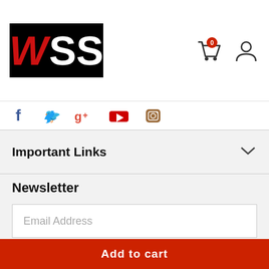[Figure (logo): WSS logo — black background with red italic W and white SS text]
[Figure (infographic): Shopping cart icon with red badge showing 0, and user profile icon]
[Figure (infographic): Social media icons: Facebook (blue f), Twitter (blue bird), Google+ (red g+), YouTube (red play), Instagram (brown camera)]
Important Links
Newsletter
Email Address
Subscribe
Add to cart